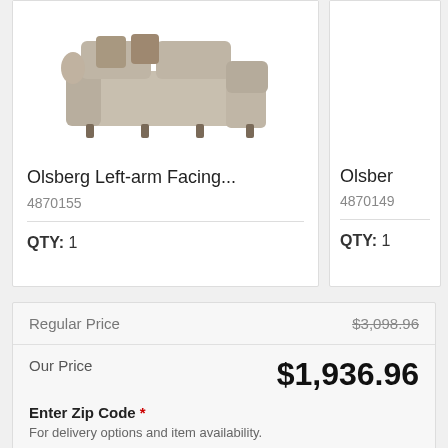[Figure (photo): Olsberg left-arm facing sectional sofa, gray/beige fabric with decorative pillows]
Olsberg Left-arm Facing...
4870155
QTY: 1
Olsber
4870149
QTY: 1
| Regular Price | $3,098.96 |
| Our Price | $1,936.96 |
| Save | $1,162 |
Enter Zip Code *
For delivery options and item availability.